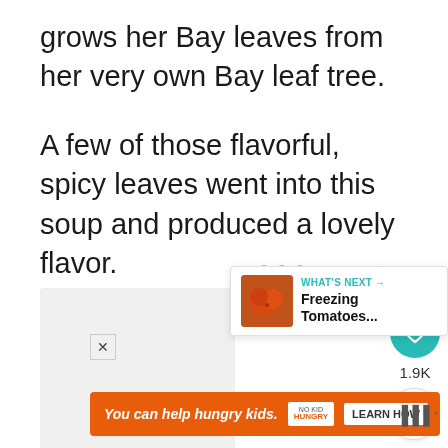grows her Bay leaves from her very own Bay leaf tree.
A few of those flavorful, spicy leaves went into this soup and produced a lovely flavor.
[Figure (screenshot): Social media UI elements: heart/like button (teal circle) with count 1.9K, share button below it; 'What's Next' panel with tomato thumbnail and 'Freezing Tomatoes...' text; ad banner 'You can help hungry kids.' with No Kid Hungry logo and Learn How button; dots navigation]
You can help hungry kids.